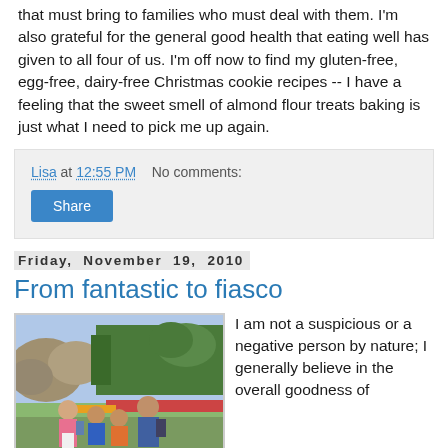that must bring to families who must deal with them. I'm also grateful for the general good health that eating well has given to all four of us. I'm off now to find my gluten-free, egg-free, dairy-free Christmas cookie recipes -- I have a feeling that the sweet smell of almond flour treats baking is just what I need to pick me up again.
Lisa at 12:55 PM   No comments:
Share
Friday, November 19, 2010
From fantastic to fiasco
[Figure (photo): Family photo of four people (woman, two boys, man) outdoors in a garden/park setting with rocks, trees, and flowers in the background.]
I am not a suspicious or a negative person by nature; I generally believe in the overall goodness of